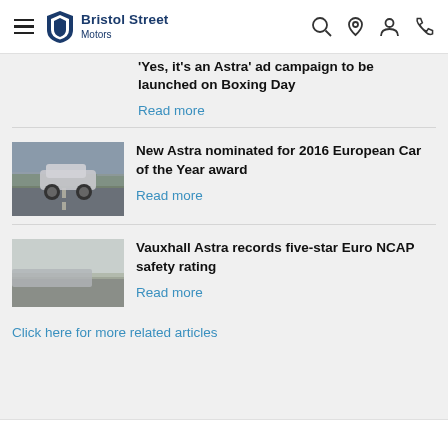Bristol Street Motors
Yes, it's an Astra ad campaign to be launched on Boxing Day
Read more
[Figure (photo): Vauxhall Astra driving on a road, grey car, motion blur background, overcast sky]
New Astra nominated for 2016 European Car of the Year award
Read more
[Figure (photo): Car on a road, partial view, light grey overcast sky]
Vauxhall Astra records five-star Euro NCAP safety rating
Read more
Click here for more related articles